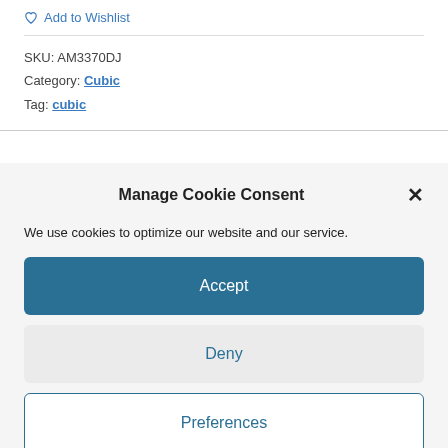Add to Wishlist
SKU: AM3370DJ
Category: Cubic
Tag: cubic
Manage Cookie Consent
We use cookies to optimize our website and our service.
Accept
Deny
Preferences